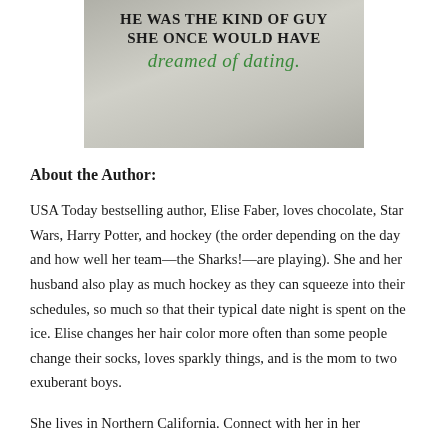[Figure (illustration): Book cover image showing a man, with overlaid text 'HE WAS THE KIND OF GUY SHE ONCE WOULD HAVE dreamed of dating.' The upper text is bold uppercase black and the script text is in green cursive.]
About the Author:
USA Today bestselling author, Elise Faber, loves chocolate, Star Wars, Harry Potter, and hockey (the order depending on the day and how well her team—the Sharks!—are playing). She and her husband also play as much hockey as they can squeeze into their schedules, so much so that their typical date night is spent on the ice. Elise changes her hair color more often than some people change their socks, loves sparkly things, and is the mom to two exuberant boys.
She lives in Northern California. Connect with her in her